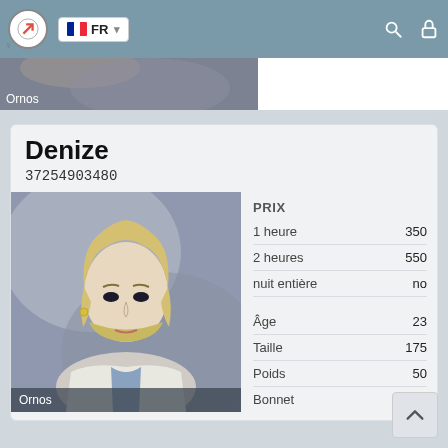FR
[Figure (photo): Banner thumbnail photo showing a person, with label 'Ornos' at bottom left]
Denize
37254903480
[Figure (photo): Portrait photo of a blonde woman with short bob haircut wearing a white blazer, label 'Ornos' at bottom]
|  |  |
| --- | --- |
| PRIX |  |
| 1 heure | 350 |
| 2 heures | 550 |
| nuit entière | no |
| Âge | 23 |
| Taille | 175 |
| Poids | 50 |
| Bonnet | 2 |